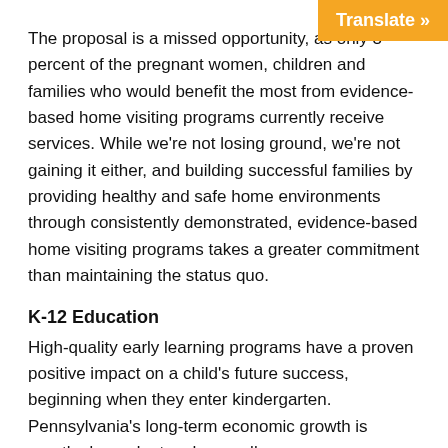Translate »
The proposal is a missed opportunity, as only 3 percent of the pregnant women, children and families who would benefit the most from evidence-based home visiting programs currently receive services. While we're not losing ground, we're not gaining it either, and building successful families by providing healthy and safe home environments through consistently demonstrated, evidence-based home visiting programs takes a greater commitment than maintaining the status quo.
K-12 Education
High-quality early learning programs have a proven positive impact on a child's future success, beginning when they enter kindergarten. Pennsylvania's long-term economic growth is greatly dependent on how well we prepare our students for an increasingly competitive global workforce.
The proposed line item increases in Basic Education Funding